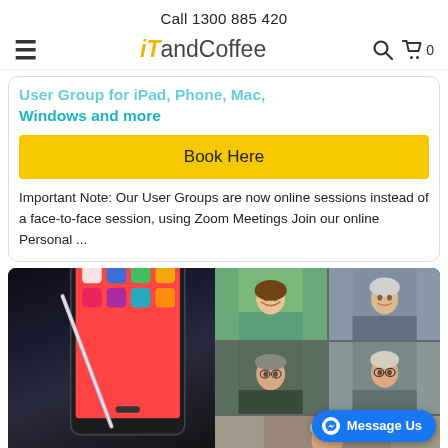Call 1300 885 420
[Figure (logo): iT andCoffee logo with hamburger menu, search icon, and cart icon showing 0]
User Group for iPad, iPhone, Mac, Windows and more
Book Here
Important Note: Our User Groups are now online sessions instead of a face-to-face session, using Zoom Meetings Join our online Personal ...
[Figure (photo): Composite image showing a tablet/iPad on the left and a Zoom video call grid with multiple participants on the right, with a Message Us button overlay]